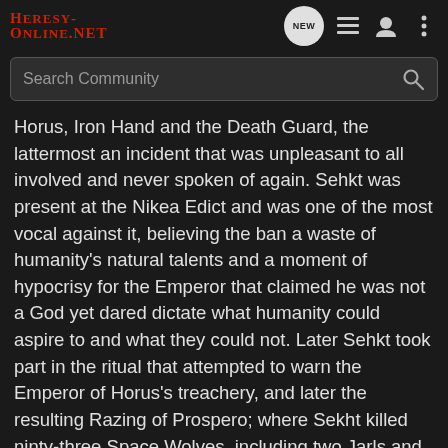Heresy-Online.net
Horus, Iron Hand and the Death Guard, the lattermost an incident that was unpleasant to all involved and never spoken of again. Sehkt was present at the Nikea Edict and was one of the most vocal against it, believing the ban a waste of humanity's natural talents and a moment of hypocrisy for the Emperor that claimed he was not a God yet dared dictate what humanity could aspire to and what they could not. Later Sehkt took part in the ritual that attempted to warn the Emperor of Horus's treachery, and later the resulting Razing of Prospero; where Sekht killed ninty-three Space Wolves, including two Jarls and eleven Rune Priests (to this day he still wears the totem chains he tore from those eleven wolves.) After the Legion was taken to Sortiarus Sehkt remained for a time, but shortly after the Rubric of Ahriman was enacted (an event he survived) he left the homeworld after learning that Magnus the Red had allowed the Space Wolves to invade, now believing